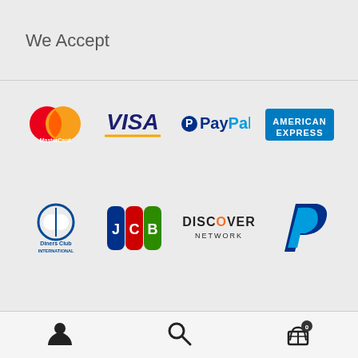We Accept
[Figure (logo): Payment method logos: MasterCard, Visa, PayPal, American Express (top row); Diners Club International, JCB, Discover Network, PayPal P (bottom row)]
[Figure (infographic): Footer navigation bar with user/account icon, search magnifying glass icon, and shopping basket icon with badge showing 0]